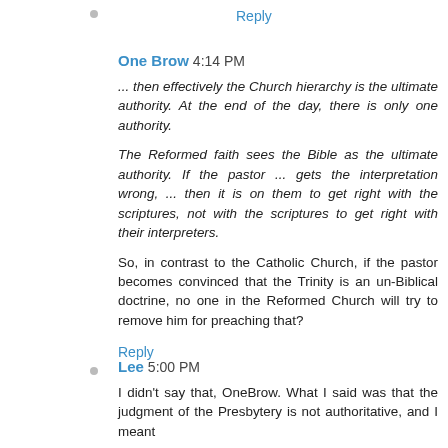Reply
One Brow  4:14 PM
... then effectively the Church hierarchy is the ultimate authority. At the end of the day, there is only one authority.
The Reformed faith sees the Bible as the ultimate authority. If the pastor ... gets the interpretation wrong, ... then it is on them to get right with the scriptures, not with the scriptures to get right with their interpreters.
So, in contrast to the Catholic Church, if the pastor becomes convinced that the Trinity is an un-Biblical doctrine, no one in the Reformed Church will try to remove him for preaching that?
Reply
Lee  5:00 PM
I didn't say that, OneBrow. What I said was that the judgment of the Presbytery is not authoritative, and I meant